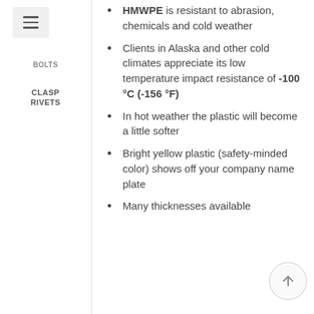HMWPE is resistant to abrasion, chemicals and cold weather
Clients in Alaska and other cold climates appreciate its low temperature impact resistance of -100 °C (-156 °F)
In hot weather the plastic will become a little softer
Bright yellow plastic (safety-minded color) shows off your company name plate
Many thicknesses available